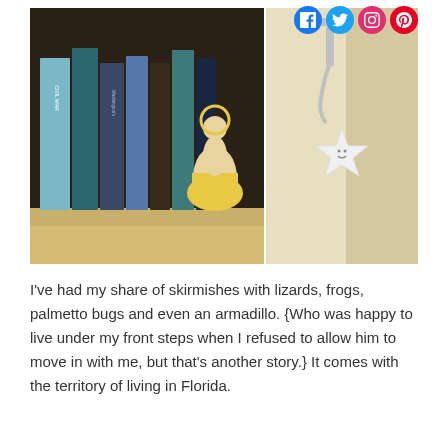[Figure (photo): Two-panel photo: left panel shows a bookshelf with various books and a ceramic figurine of a dancing woman in yellow dress; right panel shows a white ceramic star ornament hanging from a silver hook on a light wooden wall.]
I've had my share of skirmishes with lizards, frogs, palmetto bugs and even an armadillo. {Who was happy to live under my front steps when I refused to allow him to move in with me, but that's another story.} It comes with the territory of living in Florida.